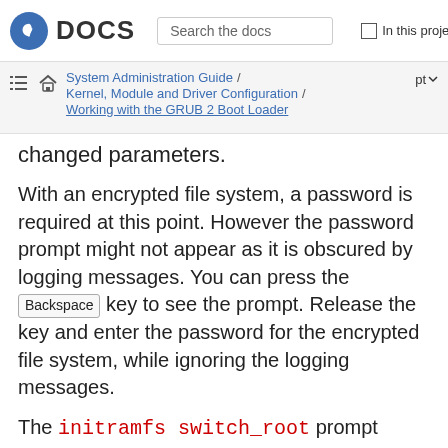DOCS | Search the docs | In this project
System Administration Guide / Kernel, Module and Driver Configuration / Working with the GRUB 2 Boot Loader | pt
changed parameters.
With an encrypted file system, a password is required at this point. However the password prompt might not appear as it is obscured by logging messages. You can press the Backspace key to see the prompt. Release the key and enter the password for the encrypted file system, while ignoring the logging messages.
The initramfs switch_root prompt appears.
1. The file system is mounted read-only on